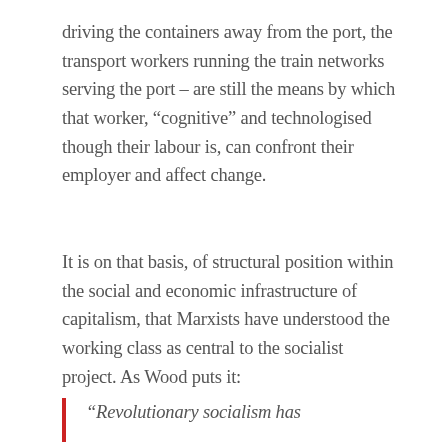driving the containers away from the port, the transport workers running the train networks serving the port – are still the means by which that worker, “cognitive” and technologised though their labour is, can confront their employer and affect change.
It is on that basis, of structural position within the social and economic infrastructure of capitalism, that Marxists have understood the working class as central to the socialist project. As Wood puts it:
“Revolutionary socialism has